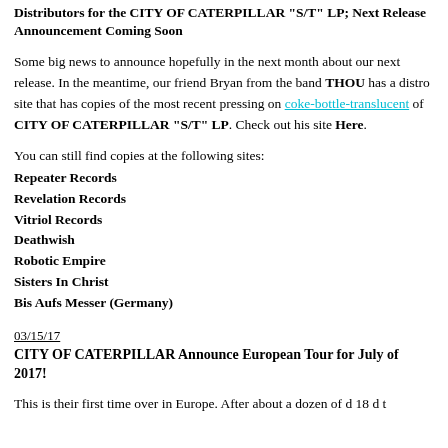Distributors for the CITY OF CATERPILLAR "S/T" LP; Next Release Announcement Coming Soon
Some big news to announce hopefully in the next month about our next release. In the meantime, our friend Bryan from the band THOU has a distro site that has copies of the most recent pressing on coke-bottle-translucent of CITY OF CATERPILLAR "S/T" LP. Check out his site Here.
You can still find copies at the following sites:
Repeater Records
Revelation Records
Vitriol Records
Deathwish
Robotic Empire
Sisters In Christ
Bis Aufs Messer (Germany)
03/15/17
CITY OF CATERPILLAR Announce European Tour for July of 2017!
This is their first time over in Europe. After about a dozen of d 18 d t